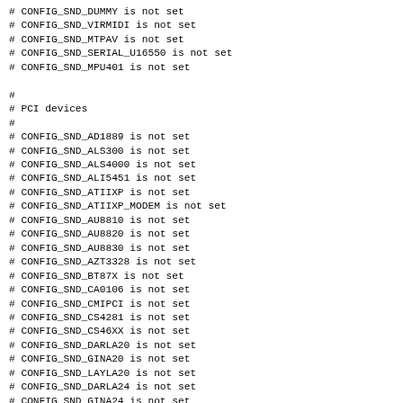# CONFIG_SND_DUMMY is not set
# CONFIG_SND_VIRMIDI is not set
# CONFIG_SND_MTPAV is not set
# CONFIG_SND_SERIAL_U16550 is not set
# CONFIG_SND_MPU401 is not set

#
# PCI devices
#
# CONFIG_SND_AD1889 is not set
# CONFIG_SND_ALS300 is not set
# CONFIG_SND_ALS4000 is not set
# CONFIG_SND_ALI5451 is not set
# CONFIG_SND_ATIIXP is not set
# CONFIG_SND_ATIIXP_MODEM is not set
# CONFIG_SND_AU8810 is not set
# CONFIG_SND_AU8820 is not set
# CONFIG_SND_AU8830 is not set
# CONFIG_SND_AZT3328 is not set
# CONFIG_SND_BT87X is not set
# CONFIG_SND_CA0106 is not set
# CONFIG_SND_CMIPCI is not set
# CONFIG_SND_CS4281 is not set
# CONFIG_SND_CS46XX is not set
# CONFIG_SND_DARLA20 is not set
# CONFIG_SND_GINA20 is not set
# CONFIG_SND_LAYLA20 is not set
# CONFIG_SND_DARLA24 is not set
# CONFIG_SND_GINA24 is not set
# CONFIG_SND_LAYLA24 is not set
# CONFIG_SND_MONA is not set